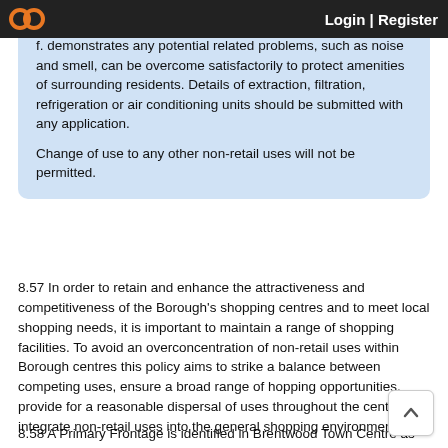Login | Register
f. demonstrates any potential related problems, such as noise and smell, can be overcome satisfactorily to protect amenities of surrounding residents. Details of extraction, filtration, refrigeration or air conditioning units should be submitted with any application.
Change of use to any other non-retail uses will not be permitted.
8.57 In order to retain and enhance the attractiveness and competitiveness of the Borough's shopping centres and to meet local shopping needs, it is important to maintain a range of shopping facilities. To avoid an overconcentration of non-retail uses within Borough centres this policy aims to strike a balance between competing uses, ensure a broad range of hopping opportunities, provide for a reasonable dispersal of uses throughout the centre and integrate non-retail uses into the general shopping environment.
8.58 A Primary Frontage is identified in Brentwood Town Centre as the Borough's main focus for retail. This is to ensure retail uses are